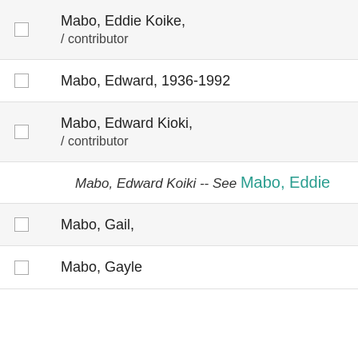Mabo, Eddie Koike, / contributor
Mabo, Edward, 1936-1992
Mabo, Edward Kioki, / contributor
Mabo, Edward Koiki -- See Mabo, Eddie
Mabo, Gail,
Mabo, Gayle